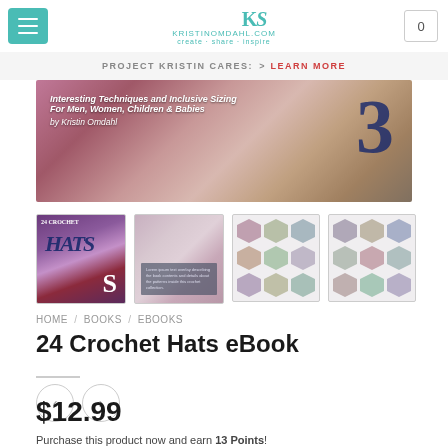[Figure (screenshot): Website navigation bar with teal menu button, KristinoMdahl.com logo, and cart icon showing 0]
PROJECT KRISTIN CARES:  > LEARN MORE
[Figure (photo): Banner image for 24 Crochet Hats book with text: Interesting Techniques and Inclusive Sizing For Men, Women, Children & Babies by Kristin Omdahl, with large number 3]
[Figure (photo): Product thumbnail images: book cover, floral background with text overlay, and two grids of hexagonal hat thumbnails]
HOME / BOOKS / EBOOKS
24 Crochet Hats eBook
$12.99
Purchase this product now and earn 13 Points!